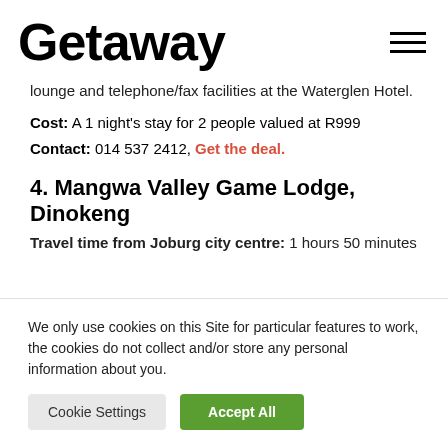Getaway
lounge and telephone/fax facilities at the Waterglen Hotel.
Cost: A 1 night's stay for 2 people valued at R999
Contact: 014 537 2412, Get the deal.
4. Mangwa Valley Game Lodge, Dinokeng
Travel time from Joburg city centre: 1 hours 50 minutes
We only use cookies on this Site for particular features to work, the cookies do not collect and/or store any personal information about you.